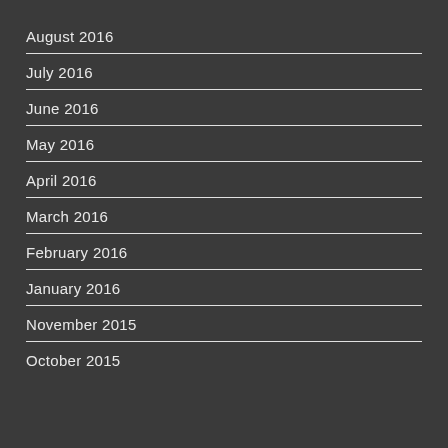August 2016
July 2016
June 2016
May 2016
April 2016
March 2016
February 2016
January 2016
November 2015
October 2015